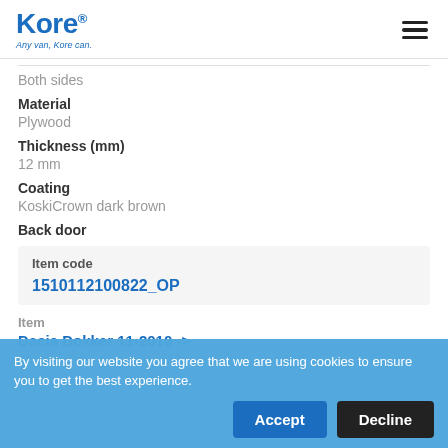Kore — Any van, Kore can.
Both sides
Material
Plywood
Thickness (mm)
12 mm
Coating
KoskiCrown dark brown
Back door
Item code
1510112100822_OP
Item
Dacia Dokker 11-2010 ->
Sliding door
Both sides
By visiting our website you agree that we are using cookies to ensure you to get the best experience.